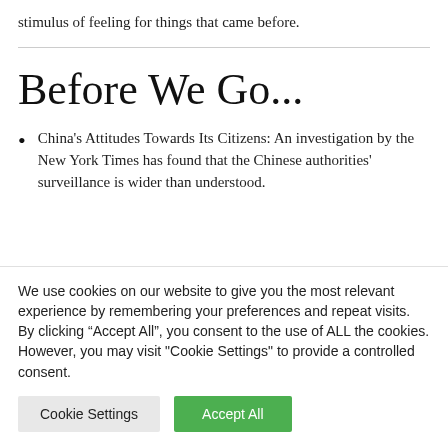stimulus of feeling for things that came before.
Before We Go...
China's Attitudes Towards Its Citizens: An investigation by the New York Times has found that the Chinese authorities' surveillance is wider than understood.
We use cookies on our website to give you the most relevant experience by remembering your preferences and repeat visits. By clicking “Accept All”, you consent to the use of ALL the cookies. However, you may visit "Cookie Settings" to provide a controlled consent.